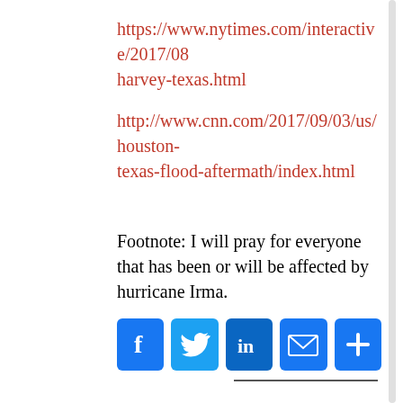https://www.nytimes.com/interactive/2017/08/harvey-texas.html
http://www.cnn.com/2017/09/03/us/houston-texas-flood-aftermath/index.html
Footnote: I will pray for everyone that has been or will be affected by hurricane Irma.
[Figure (infographic): Social sharing icons: Facebook, Twitter, LinkedIn, Email, More (plus sign)]